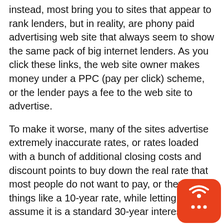instead, most bring you to sites that appear to rank lenders, but in reality, are phony paid advertising web site that always seem to show the same pack of big internet lenders. As you click these links, the web site owner makes money under a PPC (pay per click) scheme, or the lender pays a fee to the web site to advertise.
To make it worse, many of the sites advertise extremely inaccurate rates, or rates loaded with a bunch of additional closing costs and discount points to buy down the real rate that most people do not want to pay, or they show things like a 10-year rate, while letting you assume it is a standard 30-year interest rate.
Advertising this way is not cheap.
All mortgage interest rates are essentially based on the same mortgage-backed security bond market everyday.  All lenders also have to pass along the same third part closing costs fees, like appraisals, credit reports, recording fees, and title company costs.
Adding hundreds of thousands to millions of dollars bait advertising has to be paid. You the client always pay it, and the only way for the lender to recoup the high